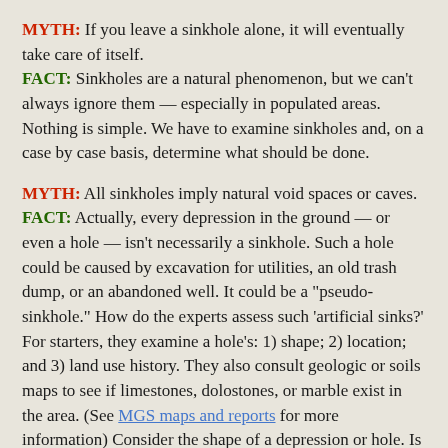MYTH: If you leave a sinkhole alone, it will eventually take care of itself. FACT: Sinkholes are a natural phenomenon, but we can't always ignore them — especially in populated areas. Nothing is simple. We have to examine sinkholes and, on a case by case basis, determine what should be done.
MYTH: All sinkholes imply natural void spaces or caves. FACT: Actually, every depression in the ground — or even a hole — isn't necessarily a sinkhole. Such a hole could be caused by excavation for utilities, an old trash dump, or an abandoned well. It could be a "pseudo-sinkhole." How do the experts assess such 'artificial sinks?' For starters, they examine a hole's: 1) shape; 2) location; and 3) land use history. They also consult geologic or soils maps to see if limestones, dolostones, or marble exist in the area. (See MGS maps and reports for more information) Consider the shape of a depression or hole. Is it open or closed? Round or rectangular? Genuine sinkholes often start as